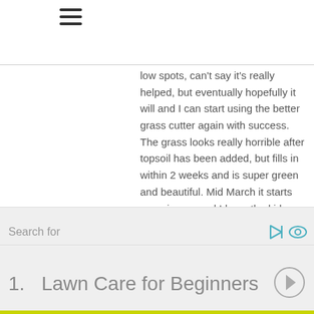[Figure (other): Hamburger menu icon (three horizontal lines)]
low spots, can't say it's really helped, but eventually hopefully it will and I can start using the better grass cutter again with success. The grass looks really horrible after topsoil has been added, but fills in within 2 weeks and is super green and beautiful. Mid March it starts greening up and I have the kids go over it with an aerator before adding topsoil (it's fun as long as we take turns). I water every 3Rd evening or early morning (like 3am) for about 5-8 mins per zone (I have 3). In my yard if my grass needs more water it begins
Search for
1.  Lawn Care for Beginners